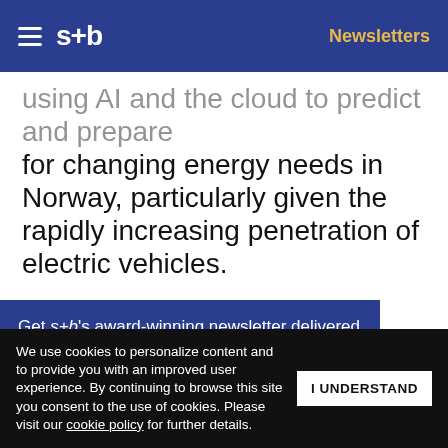s+b | Newsletters
using AI and the cloud to predict and prepare for changing energy needs in Norway, particularly given the rapidly increasing penetration of electric vehicles.
Better for Consumers
A number of programs are using digital technology to deliver social benefits. The M- technology to deliver social banking and money
Get s+b's award-winning newsletter delivered to your inbox.
We use cookies to personalize content and to provide you with an improved user experience. By continuing to browse this site you consent to the use of cookies. Please visit our cookie policy for further details.